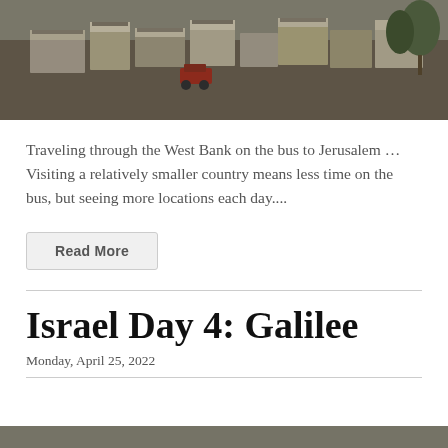[Figure (photo): Aerial or elevated view of a shantytown/informal settlement with makeshift structures, vehicles, and trees, viewed from the West Bank area]
Traveling through the West Bank on the bus to Jerusalem … Visiting a relatively smaller country means less time on the bus, but seeing more locations each day....
Read More
Israel Day 4: Galilee
Monday, April 25, 2022
[Figure (photo): Partial bottom strip of another photo, appears to be a landscape or outdoor scene]